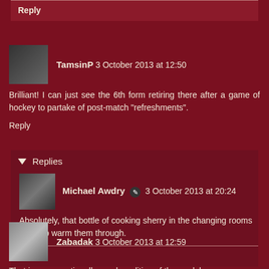Reply
TamsinP 3 October 2013 at 12:50
Brilliant! I can just see the 6th form retiring there after a game of hockey to partake of post-match "refreshments".
Reply
Replies
Michael Awdry 3 October 2013 at 20:24
Absolutely, that bottle of cooking sherry in the changing rooms will help warm them through.
Reply
Zabadak 3 October 2013 at 12:59
That is an exceptionally good rendition of the model